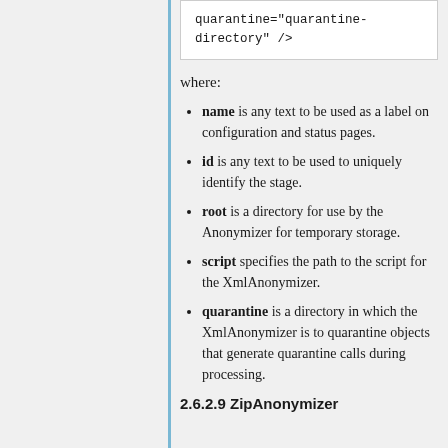[Figure (screenshot): Code block showing: quarantine="quarantine-directory" />]
where:
name is any text to be used as a label on configuration and status pages.
id is any text to be used to uniquely identify the stage.
root is a directory for use by the Anonymizer for temporary storage.
script specifies the path to the script for the XmlAnonymizer.
quarantine is a directory in which the XmlAnonymizer is to quarantine objects that generate quarantine calls during processing.
2.6.2.9 ZipAnonymizer